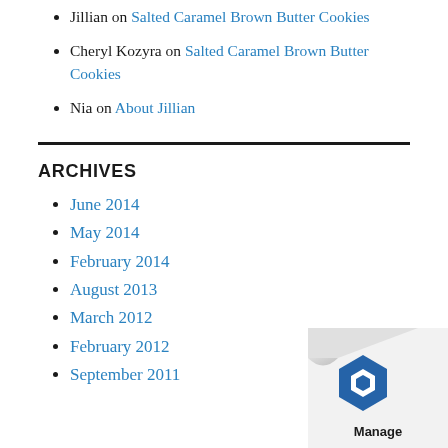Jillian on Salted Caramel Brown Butter Cookies
Cheryl Kozyra on Salted Caramel Brown Butter Cookies
Nia on About Jillian
ARCHIVES
June 2014
May 2014
February 2014
August 2013
March 2012
February 2012
September 2011